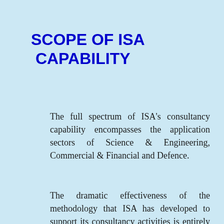SCOPE OF ISA CAPABILITY
The full spectrum of ISA's consultancy capability encompasses the application sectors of Science & Engineering, Commercial & Financial and Defence.
The dramatic effectiveness of the methodology that ISA has developed to support its consultancy activities is entirely due to a unique juxtaposition of intense need, wide ranging